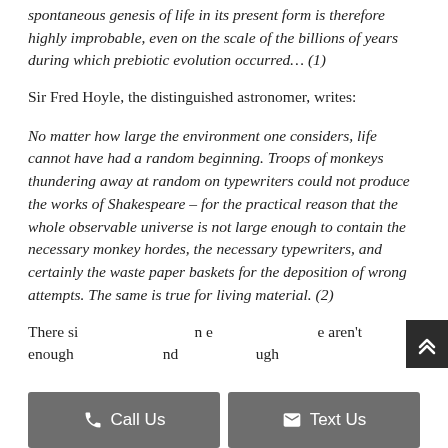spontaneous genesis of life in its present form is therefore highly improbable, even on the scale of the billions of years during which prebiotic evolution occurred... (1)
Sir Fred Hoyle, the distinguished astronomer, writes:
No matter how large the environment one considers, life cannot have had a random beginning. Troops of monkeys thundering away at random on typewriters could not produce the works of Shakespeare – for the practical reason that the whole observable universe is not large enough to contain the necessary monkey hordes, the necessary typewriters, and certainly the waste paper baskets for the deposition of wrong attempts. The same is true for living material. (2)
There si... e aren't enough... ugh